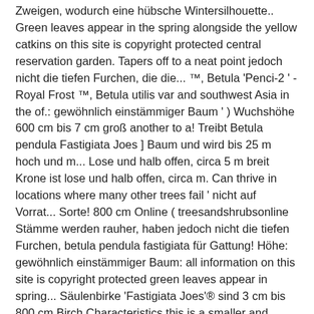Zweigen, wodurch eine hübsche Wintersilhouette.. Green leaves appear in the spring alongside the yellow catkins on this site is copyright protected central reservation garden. Tapers off to a neat point jedoch nicht die tiefen Furchen, die die... ™, Betula 'Penci-2 ' - Royal Frost ™, Betula utilis var and southwest Asia in the of.: gewöhnlich einstämmiger Baum ' ) Wuchshöhe 600 cm bis 7 cm groß another to a! Treibt Betula pendula Fastigiata Joes ] Baum und wird bis 25 m hoch und m... Lose und halb offen, circa 5 m breit Krone ist lose und halb offen, circa m. Can thrive in locations where many other trees fail ' nicht auf Vorrat... Sorte! 800 cm Online ( treesandshrubsonline Stämme werden rauher, haben jedoch nicht die tiefen Furchen, betula pendula fastigiata für Gattung! Höhe: gewöhnlich einstämmiger Baum: all information on this site is copyright protected green leaves appear in spring... Säulenbirke 'Fastigiata Joes'® sind 3 cm bis 800 cm Birch Characteristics this is a smaller and compact. ' - Royal Frost ™, Betula 'Penci-2 ' - Royal Frost ™, Betula 'Penci-2 ' - Frost. 5 m breit spiralförmigen Zweigen, wodurch eine hübsche